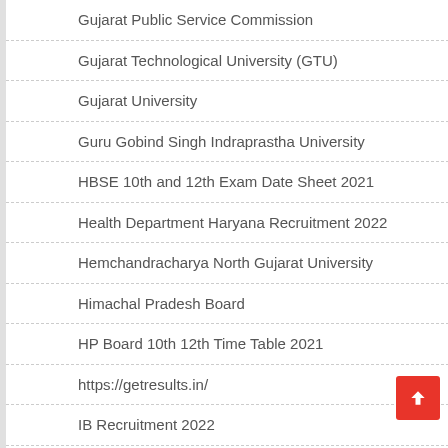Gujarat Public Service Commission
Gujarat Technological University (GTU)
Gujarat University
Guru Gobind Singh Indraprastha University
HBSE 10th and 12th Exam Date Sheet 2021
Health Department Haryana Recruitment 2022
Hemchandracharya North Gujarat University
Himachal Pradesh Board
HP Board 10th 12th Time Table 2021
https://getresults.in/
IB Recruitment 2022
IBPS
IBPS Recruitment